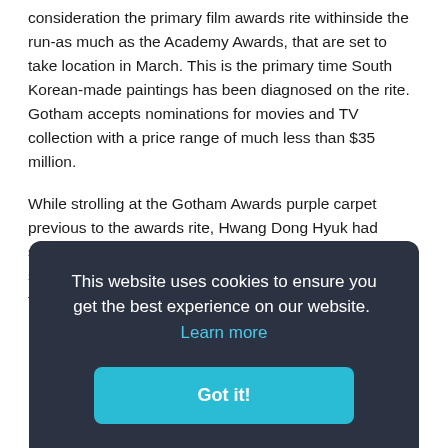consideration the primary film awards rite withinside the run-as much as the Academy Awards, that are set to take location in March. This is the primary time South Korean-made paintings has been diagnosed on the rite. Gotham accepts nominations for movies and TV collection with a price range of much less than $35 million.
While strolling at the Gotham Awards purple carpet previous to the awards rite, Hwang Dong Hyuk had spoken approximately Squid Game's unexpected success, and the effect the display has had on worldwide television.
This website uses cookies to ensure you get the best experience on our website.  Learn more

Got it!